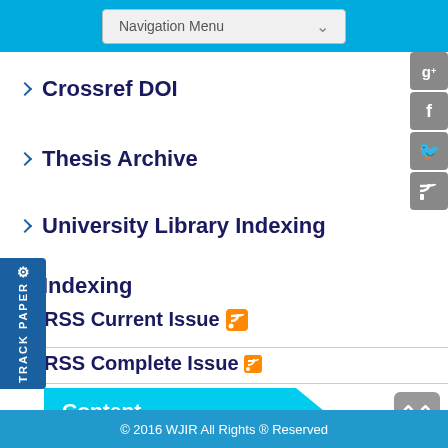[Figure (screenshot): Navigation menu dropdown at top of page]
Crossref DOI
Thesis Archive
University Library Indexing
Indexing
RSS Current Issue
RSS Complete Issue
Content
Current Issues
© 2016 WJIR All Rights ® Reserved